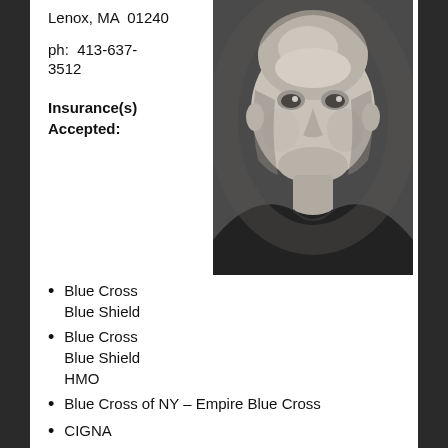Lenox, MA  01240
ph:  413-637-3512
Insurance(s) Accepted:
[Figure (photo): Black and white professional headshot of a middle-aged bald man with a slight smile, wearing a dark shirt.]
Blue Cross Blue Shield
Blue Cross Blue Shield HMO
Blue Cross of NY – Empire Blue Cross
CIGNA
Health New England
Mass. Health
MBHR